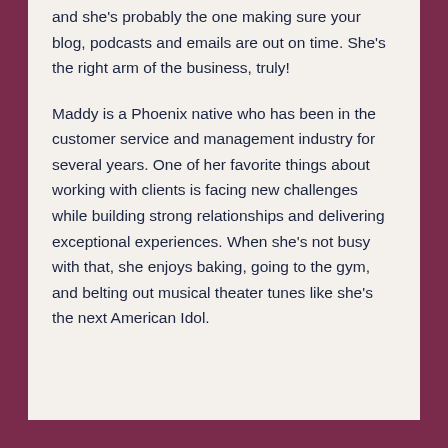and she's probably the one making sure your blog, podcasts and emails are out on time. She's the right arm of the business, truly!
Maddy is a Phoenix native who has been in the customer service and management industry for several years. One of her favorite things about working with clients is facing new challenges while building strong relationships and delivering exceptional experiences. When she's not busy with that, she enjoys baking, going to the gym, and belting out musical theater tunes like she's the next American Idol.